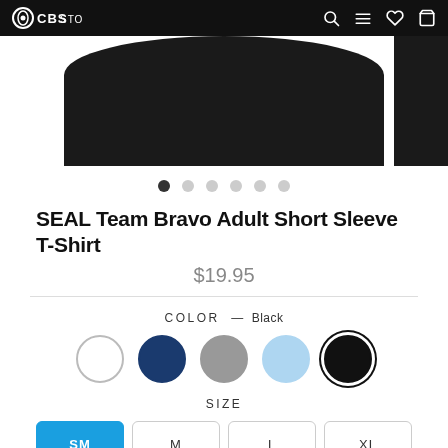CBS STORE
[Figure (photo): Product image area showing the top portion of a dark/black t-shirt, with a dark image panel on the right side.]
● ○ ○ ○ ○ ○ (carousel navigation dots, first dot active)
SEAL Team Bravo Adult Short Sleeve T-Shirt
$19.95
COLOR — Black
Color swatches: White, Navy, Gray, Light Blue, Black (selected)
SIZE
Size options: SM (selected), M, L, XL, XXL, XXXL